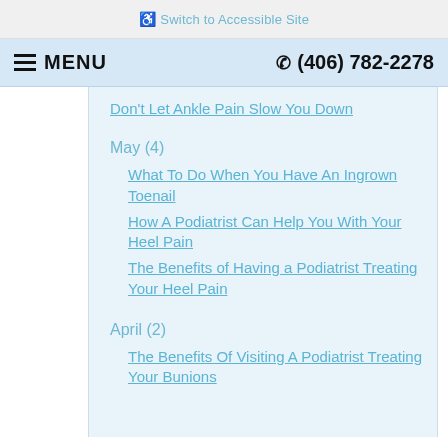Switch to Accessible Site
MENU  (406) 782-2278
Don't Let Ankle Pain Slow You Down
May (4)
What To Do When You Have An Ingrown Toenail
How A Podiatrist Can Help You With Your Heel Pain
The Benefits of Having a Podiatrist Treating Your Heel Pain
April (2)
The Benefits Of Visiting A Podiatrist Treating Your Bunions